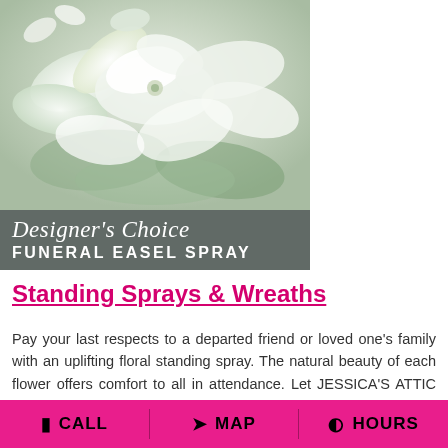[Figure (photo): Funeral floral easel spray product image showing white lilies and flowers with a dark gray banner overlay reading Designer's Choice Funeral Easel Spray]
Standing Sprays & Wreaths
Pay your last respects to a departed friend or loved one's family with an uplifting floral standing spray. The natural beauty of each flower offers comfort to all in attendance. Let JESSICA'S ATTIC FLORAL help you choose the right standing funeral spray for your final tribute. If you would like something more
CALL  MAP  HOURS